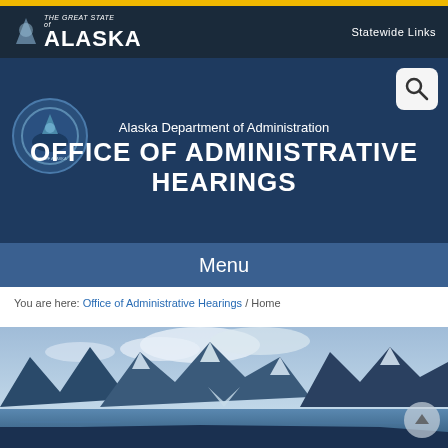The Great State of ALASKA — Statewide Links
Alaska Department of Administration OFFICE OF ADMINISTRATIVE HEARINGS
Menu
You are here: Office of Administrative Hearings / Home
[Figure (photo): Panoramic photo of snow-capped Alaskan mountain range with glaciers and water in the foreground, shown in a blue-tinted monochrome style.]